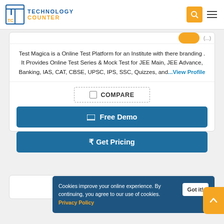Technology Counter
Test Magica is a Online Test Platform for an Institute with there branding . It Provides Online Test Series & Mock Test for JEE Main, JEE Advance, Banking, IAS, CAT, CBSE, UPSC, IPS, SSC, Quizzes, and...View Profile
COMPARE
Free Demo
₹ Get Pricing
Cookies improve your online experience. By continuing, you agree to our use of cookies. Privacy Policy